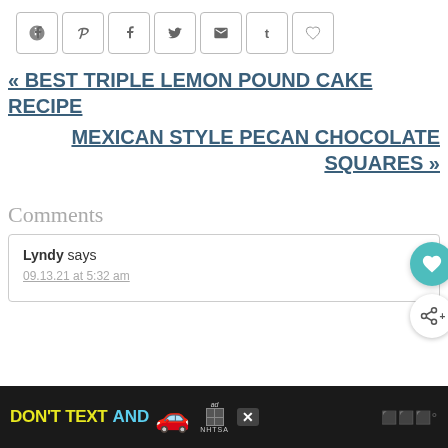[Figure (other): Social share buttons row: Pinterest, Facebook, Twitter, Email, Tumblr, Heart/Like icons in bordered square buttons]
« BEST TRIPLE LEMON POUND CAKE RECIPE
MEXICAN STYLE PECAN CHOCOLATE SQUARES »
Comments
Lyndy says
09.13.21 at 5:32 am
[Figure (other): Advertisement banner: DON'T TEXT AND [car emoji] ad with NHTSA badge and close button]